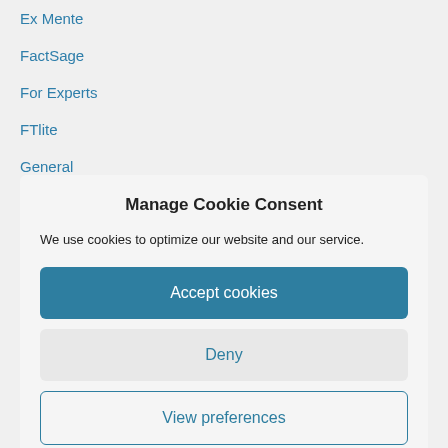Ex Mente
FactSage
For Experts
FTlite
General
GTT
Manage Cookie Consent
We use cookies to optimize our website and our service.
Accept cookies
Deny
View preferences